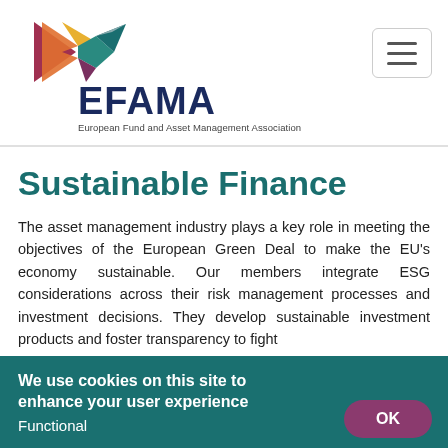[Figure (logo): EFAMA logo — colorful geometric arrow shapes in red, orange, yellow, teal, dark teal, and purple/maroon forming a stylized double-arrow motif, with 'EFAMA' in bold dark navy text and 'European Fund and Asset Management Association' in small grey text below]
Sustainable Finance
The asset management industry plays a key role in meeting the objectives of the European Green Deal to make the EU's economy sustainable. Our members integrate ESG considerations across their risk management processes and investment decisions. They develop sustainable investment products and foster transparency to fight
We use cookies on this site to enhance your user experience
Functional